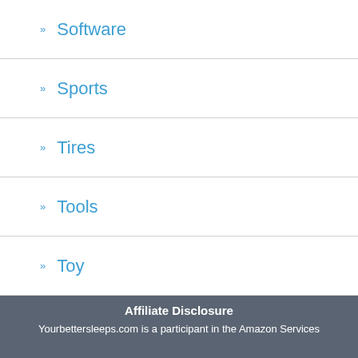Software
Sports
Tires
Tools
Toy
Video Games
Video On Demand
Watch
Wireless
Affiliate Disclosure
Yourbettersleeps.com is a participant in the Amazon Services